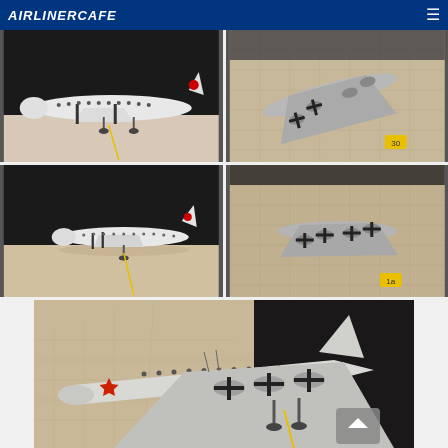AIRLINERCAFE
[Figure (photo): Side view of a white Soviet airliner model (likely Ilyushin Il-18) on a light surface with black background]
[Figure (photo): Top-down angled view of a silver multi-engine propeller aircraft model on a gridded surface, with tag labeled 30]
[Figure (photo): Side view of a small white Soviet airliner model with red star marking on tail, on light surface]
[Figure (photo): Top-down view of silver multi-engine propeller aircraft model on gridded surface, with tag labeled 1a]
[Figure (photo): Close-up angled view of large white Soviet propeller airliner model with red star on tail, showing wing and engine detail on light surface with yellow cord]